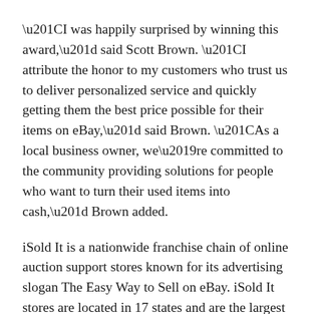“I was happily surprised by winning this award,” said Scott Brown. “I attribute the honor to my customers who trust us to deliver personalized service and quickly getting them the best price possible for their items on eBay,” said Brown. “As a local business owner, we’re committed to the community providing solutions for people who want to turn their used items into cash,” Brown added.
iSold It is a nationwide franchise chain of online auction support stores known for its advertising slogan The Easy Way to Sell on eBay. iSold It stores are located in 17 states and are the largest auction support store chain in the U.S. Both consumers and businesses use iSold It to turn unused items into cash.
The Fullerton iSold It store sells many items online, but